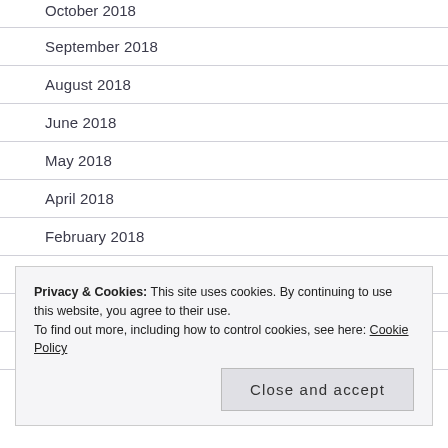September 2018
August 2018
June 2018
May 2018
April 2018
February 2018
January 2018
December 2017
November 2017
Privacy & Cookies: This site uses cookies. By continuing to use this website, you agree to their use. To find out more, including how to control cookies, see here: Cookie Policy
Close and accept